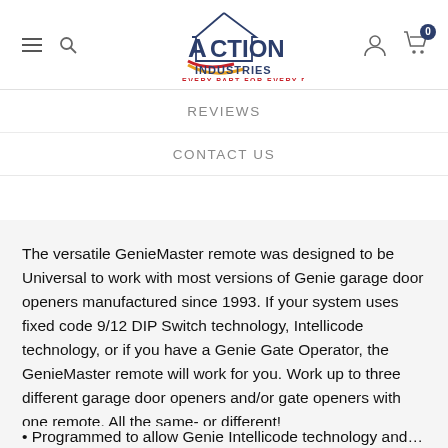[Figure (logo): Action Industries logo — house outline with 'ACTION INDUSTRIES / EVERY PART FOR EVERY DOOR' text, navigation icons (hamburger menu, search, user, cart with 0 badge)]
REVIEWS
CONTACT US
The versatile GenieMaster remote was designed to be Universal to work with most versions of Genie garage door openers manufactured since 1993. If your system uses fixed code 9/12 DIP Switch technology, Intellicode technology, or if you have a Genie Gate Operator, the GenieMaster remote will work for you. Work up to three different garage door openers and/or gate openers with one remote. All the same- or different!